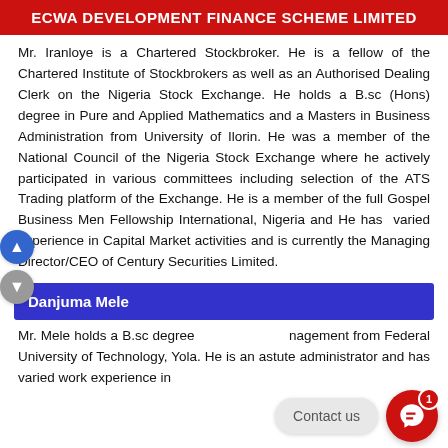ECWA DEVELOPMENT FINANCE SCHEME LIMITED
Mr. Iranloye is a Chartered Stockbroker. He is a fellow of the Chartered Institute of Stockbrokers as well as an Authorised Dealing Clerk on the Nigeria Stock Exchange. He holds a B.sc (Hons) degree in Pure and Applied Mathematics and a Masters in Business Administration from University of Ilorin. He was a member of the National Council of the Nigeria Stock Exchange where he actively participated in various committees including selection of the ATS Trading platform of the Exchange. He is a member of the full Gospel Business Men Fellowship International, Nigeria and He has varied experience in Capital Market activities and is currently the Managing Director/CEO of Century Securities Limited.
Danjuma Mele
Mr. Mele holds a B.sc degree in Management from Federal University of Technology, Yola. He is an astute administrator and has varied work experience in